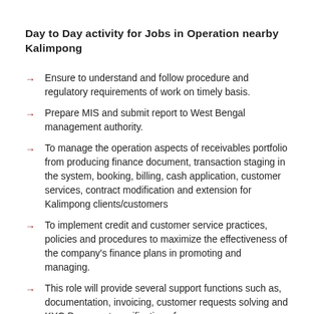Day to Day activity for Jobs in Operation nearby Kalimpong
Ensure to understand and follow procedure and regulatory requirements of work on timely basis.
Prepare MIS and submit report to West Bengal management authority.
To manage the operation aspects of receivables portfolio from producing finance document, transaction staging in the system, booking, billing, cash application, customer services, contract modification and extension for Kalimpong clients/customers
To implement credit and customer service practices, policies and procedures to maximize the effectiveness of the company's finance plans in promoting and managing.
This role will provide several support functions such as, documentation, invoicing, customer requests solving and KYC Documents verification of new